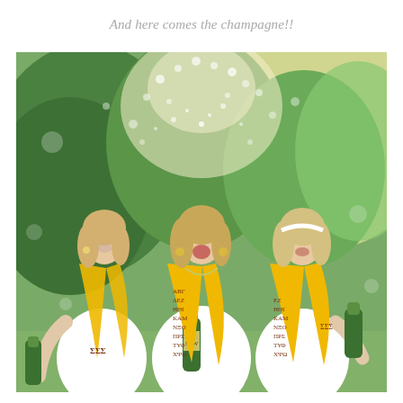And here comes the champagne!!
[Figure (photo): Three young women in white dresses wearing yellow graduation stoles with Greek letters (ΣΣΣ / Sigma Sigma Sigma sorority), celebrating outdoors by popping champagne bottles. Champagne is spraying in the air. Green trees in the background with bright sunlight.]